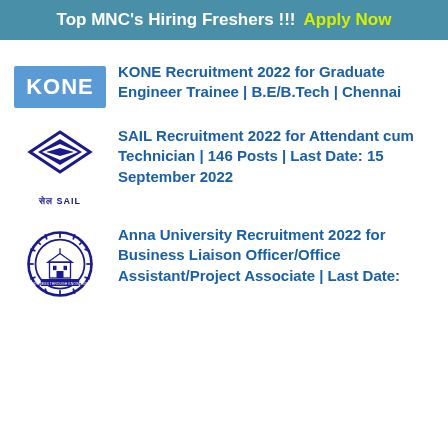Top MNC's Hiring Freshers !!! Apply Now
KONE Recruitment 2022 for Graduate Engineer Trainee | B.E/B.Tech | Chennai
SAIL Recruitment 2022 for Attendant cum Technician | 146 Posts | Last Date: 15 September 2022
Anna University Recruitment 2022 for Business Liaison Officer/Office Assistant/Project Associate | Last Date: